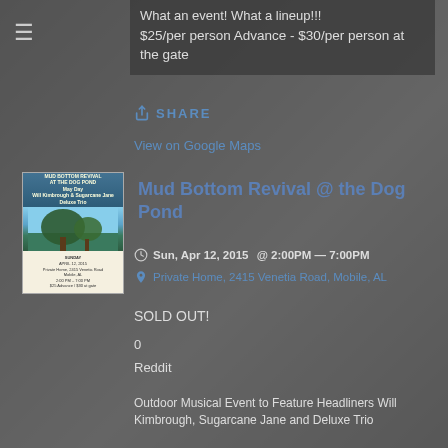What an event! What a lineup!!!
$25/per person Advance - $30/per person at the gate
SHARE
View on Google Maps
[Figure (photo): Flyer thumbnail for Mud Bottom Revival at the Dog Pond event]
Mud Bottom Revival @ the Dog Pond
Sun, Apr 12, 2015 @ 2:00PM — 7:00PM
Private Home, 2415 Venetia Road, Mobile, AL
SOLD OUT!
0
Reddit
Outdoor Musical Event to Feature Headliners Will Kimbrough, Sugarcane Jane and Deluxe Trio